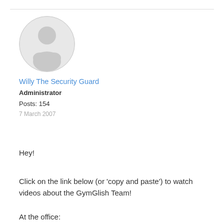[Figure (illustration): Default user avatar silhouette in a light gray circle with border]
Willy The Security Guard
Administrator
Posts: 154
7 March 2007
Hey!
Click on the link below (or 'copy and paste') to watch videos about the GymGlish Team!
At the office: